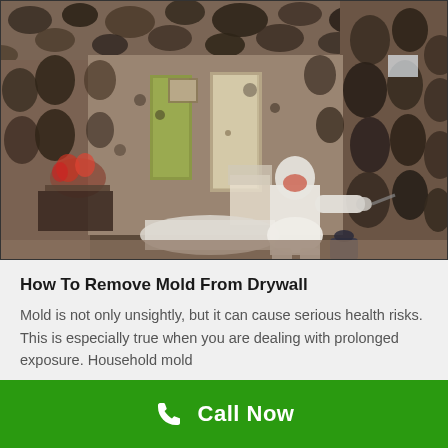[Figure (photo): Photo of a heavily mold-covered room interior with a person in a white hazmat suit spraying treatment on the mold-covered walls. The ceiling and walls are completely covered with dark mold growth. The room contains furniture including a table with flowers and chairs draped in white fabric.]
How To Remove Mold From Drywall
Mold is not only unsightly, but it can cause serious health risks. This is especially true when you are dealing with prolonged exposure. Household mold
Call Now